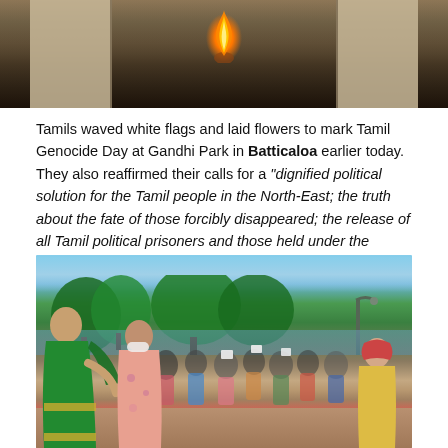[Figure (photo): Photo of a memorial or ceremony with candles/flame visible in center, decorative frames or boards with images on left and right, people gathered in background]
Tamils waved white flags and laid flowers to mark Tamil Genocide Day at Gandhi Park in Batticaloa earlier today. They also reaffirmed their calls for a "dignified political solution for the Tamil people in the North-East; the truth about the fate of those forcibly disappeared; the release of all Tamil political prisoners and those held under the Prevention of Terrorism Act; the repeal of the PTA; an end to militarisation and land grabs."
[Figure (photo): Outdoor crowd photo at Gandhi Park in Batticaloa. Women in colorful sarees (green, floral pink, red) are visible in foreground, many people wearing masks gathered behind them. Palm trees, large green trees, and a body of water visible in background under blue sky.]